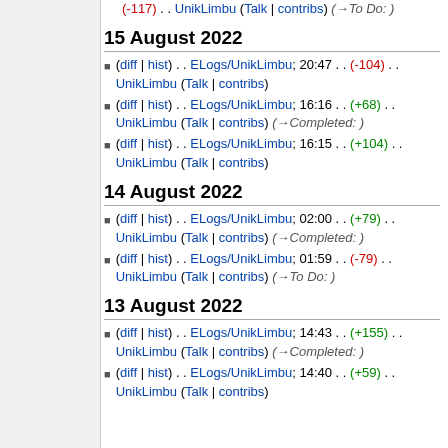(-117) . . UnikLimbu (Talk | contribs) (→To Do: )
15 August 2022
(diff | hist) . . ELogs/UnikLimbu; 20:47 . . (-104) . . UnikLimbu (Talk | contribs)
(diff | hist) . . ELogs/UnikLimbu; 16:16 . . (+68) . . UnikLimbu (Talk | contribs) (→Completed: )
(diff | hist) . . ELogs/UnikLimbu; 16:15 . . (+104) . . UnikLimbu (Talk | contribs)
14 August 2022
(diff | hist) . . ELogs/UnikLimbu; 02:00 . . (+79) . . UnikLimbu (Talk | contribs) (→Completed: )
(diff | hist) . . ELogs/UnikLimbu; 01:59 . . (-79) . . UnikLimbu (Talk | contribs) (→To Do: )
13 August 2022
(diff | hist) . . ELogs/UnikLimbu; 14:43 . . (+155) . . UnikLimbu (Talk | contribs) (→Completed: )
(diff | hist) . . ELogs/UnikLimbu; 14:40 . . (+59) . . UnikLimbu (Talk | contribs)